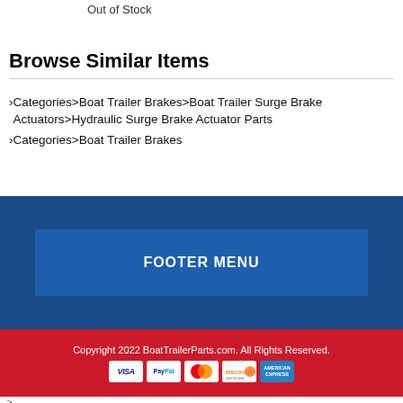Out of Stock
Browse Similar Items
Categories>Boat Trailer Brakes>Boat Trailer Surge Brake Actuators>Hydraulic Surge Brake Actuator Parts
Categories>Boat Trailer Brakes
FOOTER MENU
Copyright 2022 BoatTrailerParts.com. All Rights Reserved.
[Figure (other): Payment method icons: VISA, PayPal, MasterCard, Discover, American Express]
-->